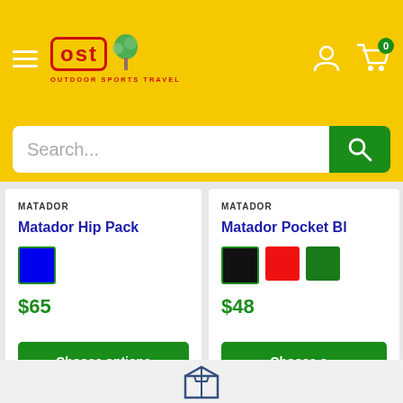[Figure (logo): OST Outdoor Sports Travel logo with red text and green tree icon on yellow background]
Search...
MATADOR
Matador Hip Pack
$65
Choose options
MATADOR
Matador Pocket Bl...
$48
Choose o...